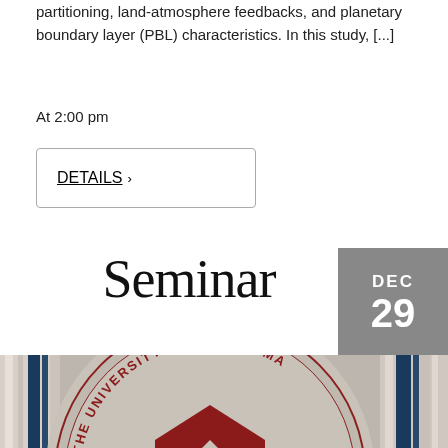partitioning, land-atmosphere feedbacks, and planetary boundary layer (PBL) characteristics. In this study, [...]
At 2:00 pm
DETAILS >
Seminar
DEC 29
[Figure (photo): University of Oklahoma seal/logo overlaid on a background of stacked books, with a reCAPTCHA privacy badge in the bottom right corner.]